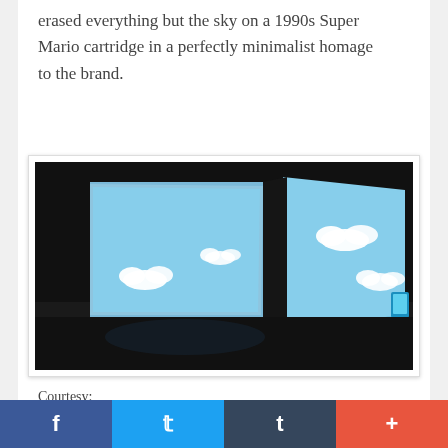erased everything but the sky on a 1990s Super Mario cartridge in a perfectly minimalist homage to the brand.
[Figure (photo): Installation photo showing two large screens in a dark room, each displaying a blue sky with white pixel clouds in the style of Super Mario Bros. A small glowing blue monitor is visible to the right.]
Courtesy:
http://www.coryarcangel.com/things-i-made/supermarioclouds/